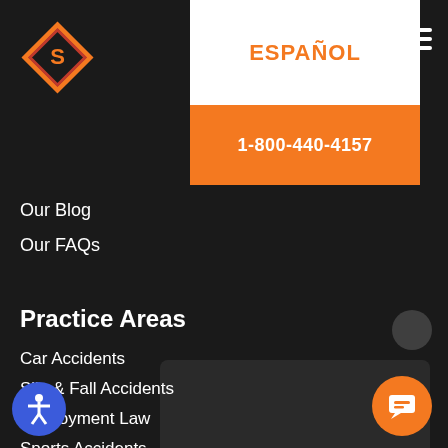[Figure (logo): Orange diamond-shaped logo with letter S]
ESPAÑOL
1-800-440-4157
Our Blog
Our FAQs
Practice Areas
Car Accidents
Slip & Fall Accidents
Employment Law
Sports Accidents
Ride Share Accidents
Electric Scooter Accidents
Sexual Harassment